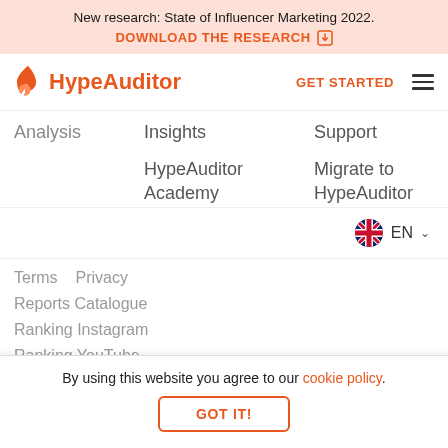New research: State of Influencer Marketing 2022. DOWNLOAD THE RESEARCH
[Figure (logo): HypeAuditor flame logo and wordmark in orange]
GET STARTED
Analysis
Insights
Support
HypeAuditor Academy
Migrate to HypeAuditor
[Figure (other): UK flag circle icon with EN language selector and dropdown arrow]
Terms  Privacy
Reports Catalogue
Ranking Instagram
Ranking YouTube
Information
By using this website you agree to our cookie policy.
GOT IT!